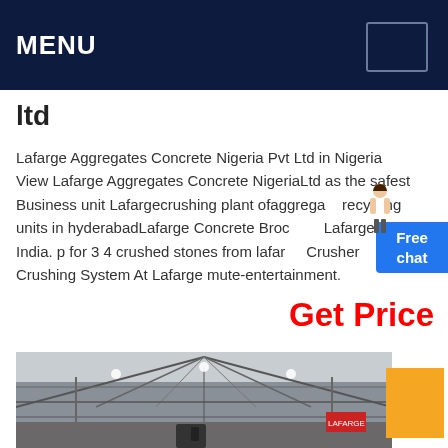MENU
ltd
Lafarge Aggregates Concrete Nigeria Pvt Ltd in Nigeria View Lafarge Aggregates Concrete NigeriaLtd as the safest Business unit Lafargecrushing plant ofaggregates recycling units in hyderabadLafarge Concrete Brochure Lafarge in India. p for 3 4 crushed stones from lafarge Crusher Crushing System At Lafarge mute-entertainment .
Get Price
[Figure (photo): Interior of an industrial warehouse or factory building showing roof trusses and structural framework with overhead lighting]